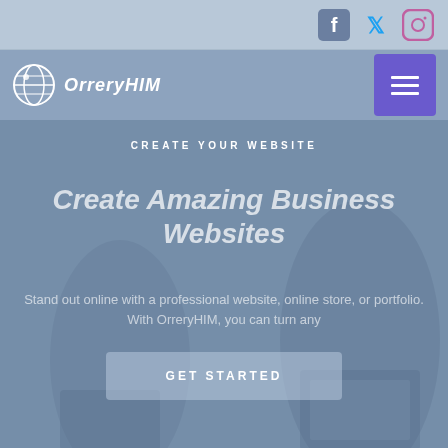Social icons: Facebook, Twitter, Instagram
[Figure (logo): OrreryHIM logo with globe icon and italic bold white text]
CREATE YOUR WEBSITE
Create Amazing Business Websites
Stand out online with a professional website, online store, or portfolio. With OrreryHIM, you can turn any
GET STARTED